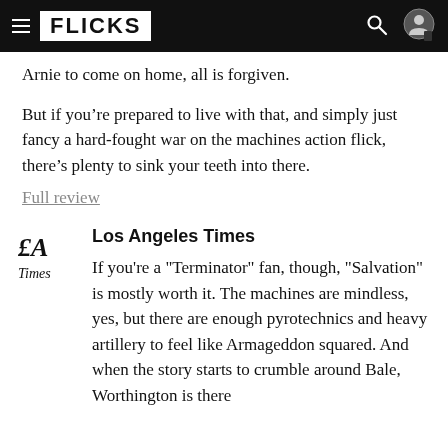FLICKS
Arnie to come on home, all is forgiven.
But if you’re prepared to live with that, and simply just fancy a hard-fought war on the machines action flick, there’s plenty to sink your teeth into there.
Full review
Los Angeles Times
If you're a "Terminator" fan, though, "Salvation" is mostly worth it. The machines are mindless, yes, but there are enough pyrotechnics and heavy artillery to feel like Armageddon squared. And when the story starts to crumble around Bale, Worthington is there